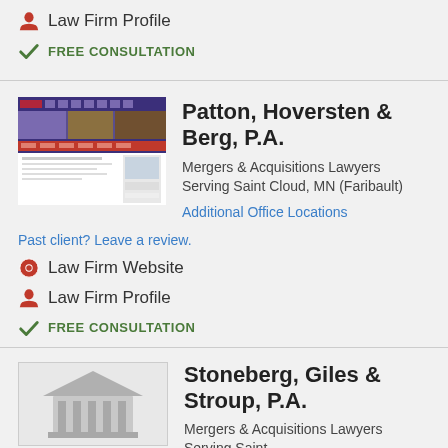Law Firm Profile
FREE CONSULTATION
Patton, Hoversten & Berg, P.A.
Mergers & Acquisitions Lawyers Serving Saint Cloud, MN (Faribault)
Additional Office Locations
Past client? Leave a review.
Law Firm Website
Law Firm Profile
FREE CONSULTATION
Stoneberg, Giles & Stroup, P.A.
Mergers & Acquisitions Lawyers Serving Saint